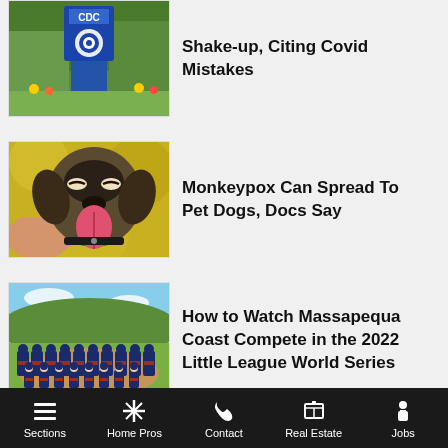[Figure (photo): CDC sign outside building with blue logo]
Shake-up, Citing Covid Mistakes
[Figure (photo): Happy dog with tongue out being held by a person]
Monkeypox Can Spread To Pet Dogs, Docs Say
[Figure (photo): Youth baseball team in orange and navy uniforms posed on a field]
How to Watch Massapequa Coast Compete in the 2022 Little League World Series
Sections  Home Pros  Contact  Real Estate  Jobs